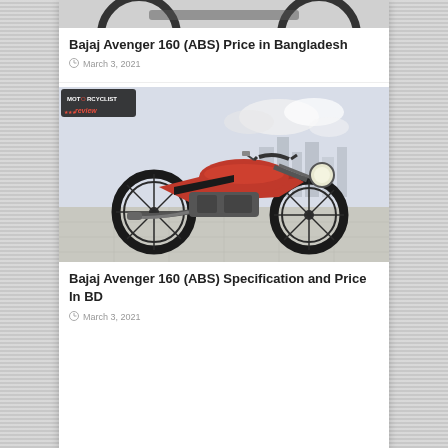[Figure (photo): Top portion of a motorcycle image, partially cropped at the top of the page]
Bajaj Avenger 160 (ABS) Price in Bangladesh
March 3, 2021
[Figure (photo): Red and black Bajaj Avenger 160 ABS cruiser motorcycle on a tiled surface with city skyline background. Motorcyclist Review logo in top-left corner.]
Bajaj Avenger 160 (ABS) Specification and Price In BD
March 3, 2021